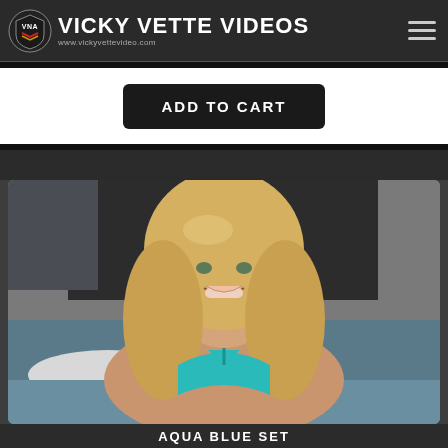VICKY VETTE VIDEOS www.vickyvettevideo.com
ADD TO CART
[Figure (photo): Blonde woman smiling, wearing a teal/aqua blue bikini top, posing on a bed in a bedroom setting]
AQUA BLUE SET